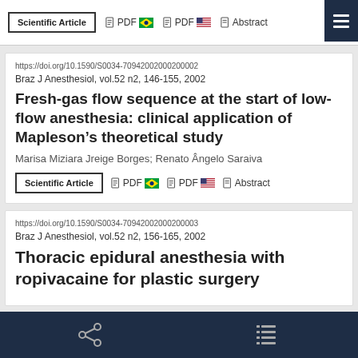Scientific Article | PDF 🇧🇷 | PDF 🇺🇸 | Abstract
https://doi.org/10.1590/S0034-70942002000200002
Braz J Anesthesiol, vol.52 n2, 146-155, 2002
Fresh-gas flow sequence at the start of low-flow anesthesia: clinical application of Mapleson’s theoretical study
Marisa Miziara Jreige Borges; Renato Ângelo Saraiva
Scientific Article | PDF 🇧🇷 | PDF 🇺🇸 | Abstract
https://doi.org/10.1590/S0034-70942002000200003
Braz J Anesthesiol, vol.52 n2, 156-165, 2002
Thoracic epidural anesthesia with ropivacaine for plastic surgery